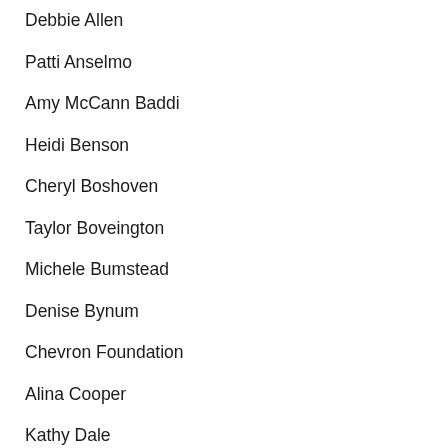Debbie Allen
Patti Anselmo
Amy McCann Baddi
Heidi Benson
Cheryl Boshoven
Taylor Boveington
Michele Bumstead
Denise Bynum
Chevron Foundation
Alina Cooper
Kathy Dale
Ms. Delgado
Mary Elkin
Experian
Tracy Fletcher
Dan Fronczak
Kathy Fugitt